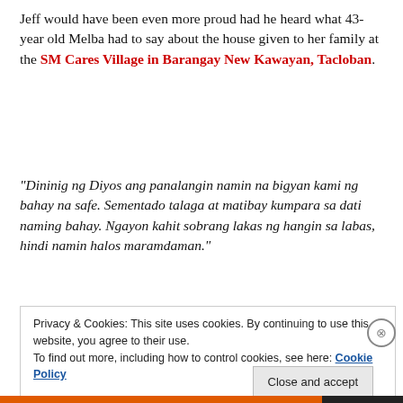Jeff would have been even more proud had he heard what 43-year old Melba had to say about the house given to her family at the SM Cares Village in Barangay New Kawayan, Tacloban.
“Dininig ng Diyos ang panalangin namin na bigyan kami ng bahay na safe. Sementado talaga at matibay kumpara sa dati naming bahay. Ngayon kahit sobrang lakas ng hangin sa labas, hindi namin halos maramdaman.”
[Figure (photo): Photo of cloudy sky with a diagonal line (possibly a rope or wire) visible against the clouds.]
Privacy & Cookies: This site uses cookies. By continuing to use this website, you agree to their use.
To find out more, including how to control cookies, see here: Cookie Policy